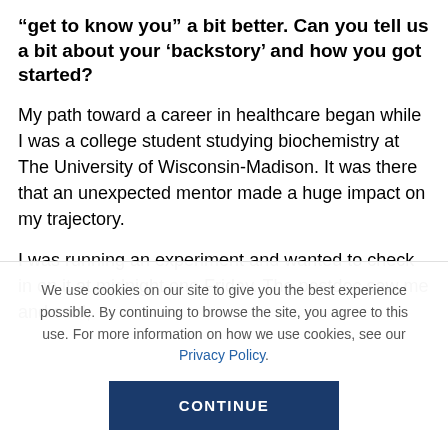“get to know you” a bit better. Can you tell us a bit about your ‘backstory’ and how you got started?
My path toward a career in healthcare began while I was a college student studying biochemistry at The University of Wisconsin-Madison. It was there that an unexpected mentor made a huge impact on my trajectory.
I was running an experiment and wanted to check in on it at midnight one Friday. The postdoc saw me and said,
We use cookies on our site to give you the best experience possible. By continuing to browse the site, you agree to this use. For more information on how we use cookies, see our Privacy Policy.